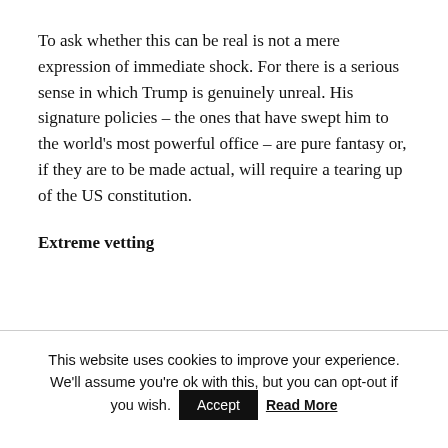To ask whether this can be real is not a mere expression of immediate shock. For there is a serious sense in which Trump is genuinely unreal. His signature policies – the ones that have swept him to the world's most powerful office – are pure fantasy or, if they are to be made actual, will require a tearing up of the US constitution.
Extreme vetting
This website uses cookies to improve your experience. We'll assume you're ok with this, but you can opt-out if you wish. Accept Read More